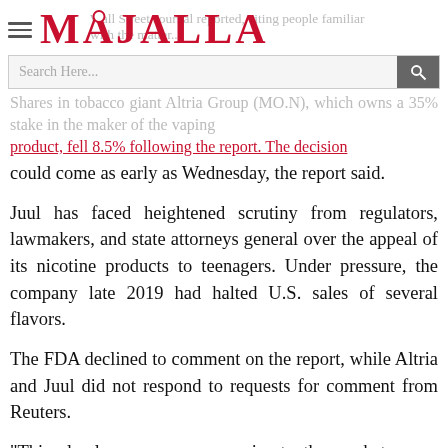MAJALLA
Wall Street Journal reported, citing people familiar with the matter...
Shares in tobacco giant Altria Group (MO.N), which owns a 35% stake in the maker of the vaping product, fell 8.5% following the report. The decision could come as early as Wednesday, the report said.
Juul has faced heightened scrutiny from regulators, lawmakers, and state attorneys general over the appeal of its nicotine products to teenagers. Under pressure, the company late 2019 had halted U.S. sales of several flavors.
The FDA declined to comment on the report, while Altria and Juul did not respond to requests for comment from Reuters.
"This clearly comes as a surprise to the market ... we would expect that Juul would appeal the decision, and remain on the market through that process, which would likely take a year or more," Cowen analyst Vivien Azer said.